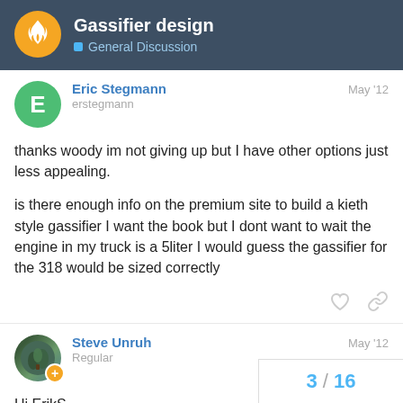Gassifier design — General Discussion
Eric Stegmann
erstegmann
May '12
thanks woody im not giving up but I have other options just less appealing.

is there enough info on the premium site to build a kieth style gassifier I want the book but I dont want to wait the engine in my truck is a 5liter I would guess the gassifier for the 318 would be sized correctly
Steve Unruh
Regular
May '12
Hi ErikS.
If the vehicle you intend to convert is the 9
F series in your picture go for it.
3 / 16